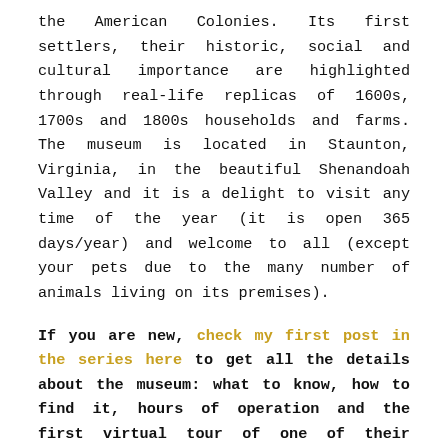the American Colonies. Its first settlers, their historic, social and cultural importance are highlighted through real-life replicas of 1600s, 1700s and 1800s households and farms. The museum is located in Staunton, Virginia, in the beautiful Shenandoah Valley and it is a delight to visit any time of the year (it is open 365 days/year) and welcome to all (except your pets due to the many number of animals living on its premises).
If you are new, check my first post in the series here to get all the details about the museum: what to know, how to find it, hours of operation and the first virtual tour of one of their farms: The West African Farm.